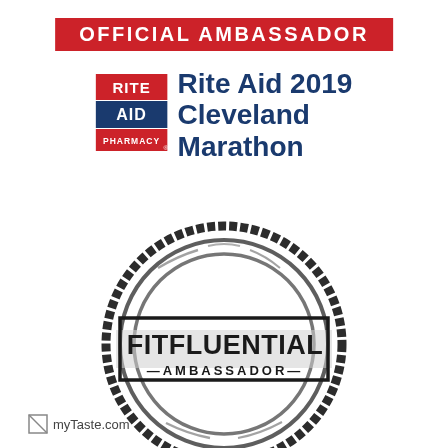OFFICIAL AMBASSADOR
[Figure (logo): Rite Aid 2019 Cleveland Marathon official ambassador logo with Rite Aid Pharmacy badge on the left and text 'Rite Aid 2019 Cleveland Marathon' on the right in blue]
[Figure (logo): FitFluential Ambassador stamp logo - circular rubber stamp style with 'FITFLUENTIAL AMBASSADOR' text in black distressed style]
[Figure (logo): myTaste.com logo at bottom left]